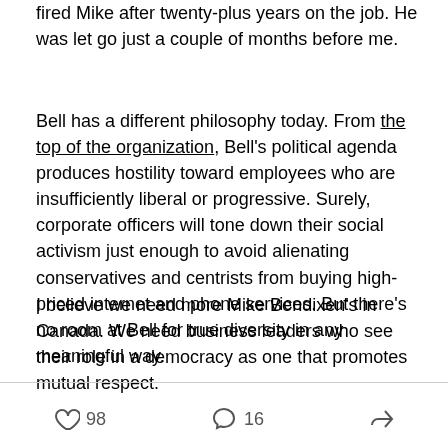fired Mike after twenty-plus years on the job. He was let go just a couple of months before me.
Bell has a different philosophy today. From the top of the organization, Bell's political agenda produces hostility toward employees who are insufficiently liberal or progressive. Surely, corporate officers will tone down their social activism just enough to avoid alienating conservatives and centrists from buying high-priced internet and phone services. But there's no room at Bell for true diversity in any meaningful way.
I believe we need more Mike Bendixen's in Canada. We need business leaders who see their role in a democracy as one that promotes mutual respect.
98 likes  16 comments  share